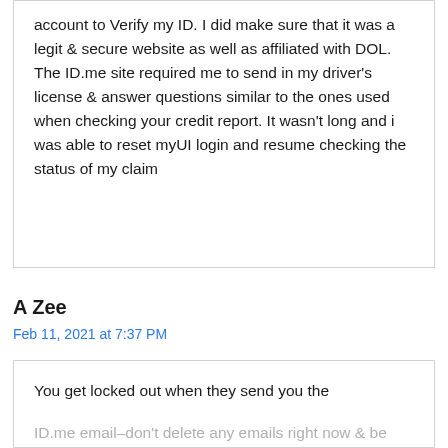account to verify my ID. I did make sure that it was a legit & secure website as well as affiliated with DOL. The ID.me site required me to send in my driver's license & answer questions similar to the ones used when checking your credit report. It wasn't long and i was able to reset myUI login and resume checking the status of my claim
A Zee
Feb 11, 2021 at 7:37 PM
You get locked out when they send you the ID.me email–don't delete any emails right now & be looking for that one. You have to